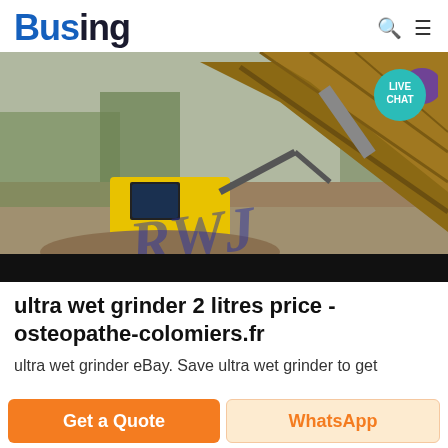Busing
[Figure (photo): A yellow bulldozer or construction vehicle at a gravel/mining site with a large wooden structure or conveyor in the background. The image has a watermark reading 'RWS' in italic blue text and a 'LIVE CHAT' badge in the top right corner.]
ultra wet grinder 2 litres price - osteopathe-colomiers.fr
ultra wet grinder eBay. Save ultra wet grinder to get